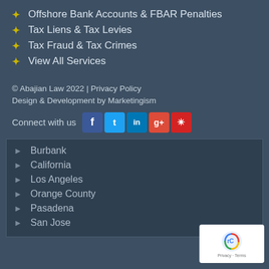Offshore Bank Accounts & FBAR Penalties
Tax Liens & Tax Levies
Tax Fraud & Tax Crimes
View All Services
© Abajian Law 2022 | Privacy Policy
Design & Development by Marketingism
Connect with us
[Figure (infographic): Social media icons: Facebook, Twitter, LinkedIn, Google+, Yelp]
Burbank
California
Los Angeles
Orange County
Pasadena
San Jose